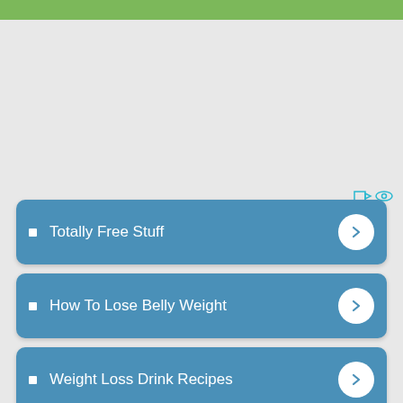Totally Free Stuff
How To Lose Belly Weight
Weight Loss Drink Recipes